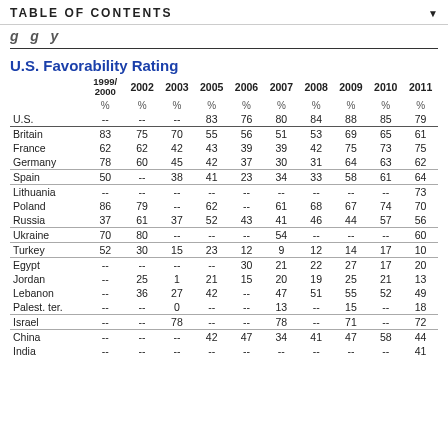TABLE OF CONTENTS
U.S. Favorability Rating
|  | 1999/2000 | 2002 | 2003 | 2005 | 2006 | 2007 | 2008 | 2009 | 2010 | 2011 |
| --- | --- | --- | --- | --- | --- | --- | --- | --- | --- | --- |
|  | % | % | % | % | % | % | % | % | % | % |
| U.S. | -- | -- | -- | 83 | 76 | 80 | 84 | 88 | 85 | 79 |
| Britain | 83 | 75 | 70 | 55 | 56 | 51 | 53 | 69 | 65 | 61 |
| France | 62 | 62 | 42 | 43 | 39 | 39 | 42 | 75 | 73 | 75 |
| Germany | 78 | 60 | 45 | 42 | 37 | 30 | 31 | 64 | 63 | 62 |
| Spain | 50 | -- | 38 | 41 | 23 | 34 | 33 | 58 | 61 | 64 |
| Lithuania | -- | -- | -- | -- | -- | -- | -- | -- | -- | 73 |
| Poland | 86 | 79 | -- | 62 | -- | 61 | 68 | 67 | 74 | 70 |
| Russia | 37 | 61 | 37 | 52 | 43 | 41 | 46 | 44 | 57 | 56 |
| Ukraine | 70 | 80 | -- | -- | -- | 54 | -- | -- | -- | 60 |
| Turkey | 52 | 30 | 15 | 23 | 12 | 9 | 12 | 14 | 17 | 10 |
| Egypt | -- | -- | -- | -- | 30 | 21 | 22 | 27 | 17 | 20 |
| Jordan | -- | 25 | 1 | 21 | 15 | 20 | 19 | 25 | 21 | 13 |
| Lebanon | -- | 36 | 27 | 42 | -- | 47 | 51 | 55 | 52 | 49 |
| Palest. ter. | -- | -- | 0 | -- | -- | 13 | -- | 15 | -- | 18 |
| Israel | -- | -- | 78 | -- | -- | 78 | -- | 71 | -- | 72 |
| China | -- | -- | -- | 42 | 47 | 34 | 41 | 47 | 58 | 44 |
| India | -- | -- | -- | -- | -- | -- | -- | -- | -- | 41 |